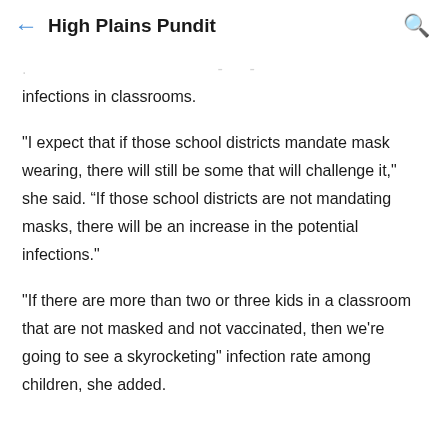High Plains Pundit
infections in classrooms.
"I expect that if those school districts mandate mask wearing, there will still be some that will challenge it," she said. “If those school districts are not mandating masks, there will be an increase in the potential infections."
"If there are more than two or three kids in a classroom that are not masked and not vaccinated, then we're going to see a skyrocketing" infection rate among children, she added.